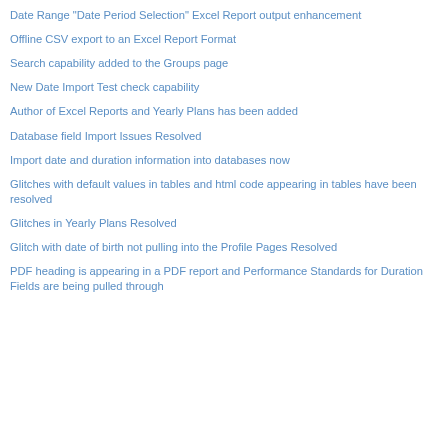Date Range "Date Period Selection" Excel Report output enhancement
Offline CSV export to an Excel Report Format
Search capability added to the Groups page
New Date Import Test check capability
Author of Excel Reports and Yearly Plans has been added
Database field Import Issues Resolved
Import date and duration information into databases now
Glitches with default values in tables and html code appearing in tables have been resolved
Glitches in Yearly Plans Resolved
Glitch with date of birth not pulling into the Profile Pages Resolved
PDF heading is appearing in a PDF report and Performance Standards for Duration Fields are being pulled through